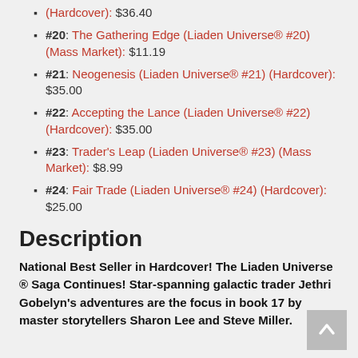(Hardcover): $36.40
#20: The Gathering Edge (Liaden Universe® #20) (Mass Market): $11.19
#21: Neogenesis (Liaden Universe® #21) (Hardcover): $35.00
#22: Accepting the Lance (Liaden Universe® #22) (Hardcover): $35.00
#23: Trader's Leap (Liaden Universe® #23) (Mass Market): $8.99
#24: Fair Trade (Liaden Universe® #24) (Hardcover): $25.00
Description
National Best Seller in Hardcover! The Liaden Universe ® Saga Continues! Star-spanning galactic trader Jethri Gobelyn's adventures are the focus in book 17 by master storytellers Sharon Lee and Steve Miller.